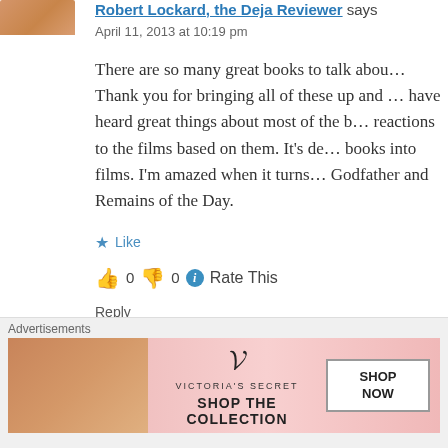[Figure (photo): Small avatar photo of Robert Lockard showing a smiling man]
Robert Lockard, the Deja Reviewer says
April 11, 2013 at 10:19 pm
There are so many great books to talk abou… Thank you for bringing all of these up and … have heard great things about most of the b… reactions to the films based on them. It's de… books into films. I'm amazed when it turns… Godfather and Remains of the Day.
★ Like
👍 0 👎 0 ℹ Rate This
Reply
Susannah Landis says:
Advertisements
[Figure (other): Victoria's Secret advertisement banner with model, VS logo, SHOP THE COLLECTION text, and SHOP NOW button]